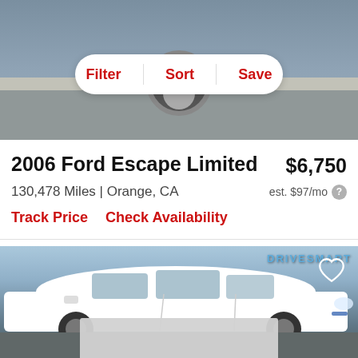[Figure (photo): Top portion of a car listing page showing a road/parking lot background with Filter, Sort, Save navigation buttons in a white pill-shaped bar]
Filter   Sort   Save
2006 Ford Escape Limited
$6,750
130,478 Miles | Orange, CA
est. $97/mo
Track Price   Check Availability
[Figure (photo): White Ford Escape SUV parked at a DriveSmart dealership. The car is white with a heart/favorite icon overlay in the upper right. Bottom of image shows a blurred/cropped panel.]